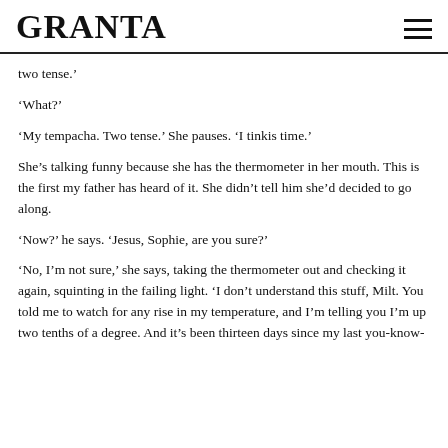GRANTA
two tense.’
‘What?’
‘My tempacha. Two tense.’ She pauses. ‘I tinkis time.’
She’s talking funny because she has the thermometer in her mouth. This is the first my father has heard of it. She didn’t tell him she’d decided to go along.
‘Now?’ he says. ‘Jesus, Sophie, are you sure?’
‘No, I’m not sure,’ she says, taking the thermometer out and checking it again, squinting in the failing light. ‘I don’t understand this stuff, Milt. You told me to watch for any rise in my temperature, and I’m telling you I’m up two tenths of a degree. And it’s been thirteen days since my last you-know-